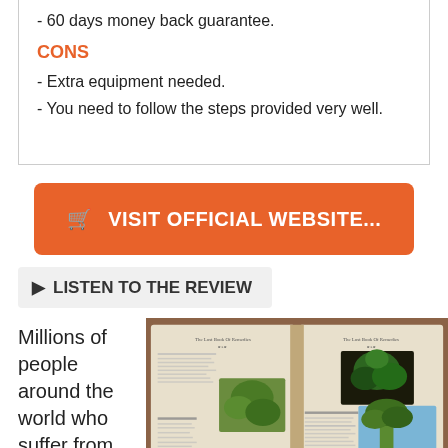- 60 days money back guarantee.
CONS
- Extra equipment needed.
- You need to follow the steps provided very well.
VISIT OFFICIAL WEBSITE...
LISTEN TO THE REVIEW
Millions of people around the world who suffer from